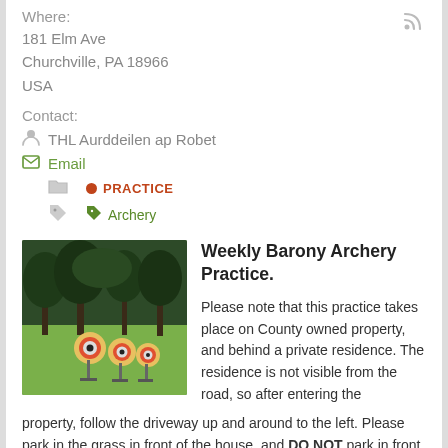Where:
181 Elm Ave
Churchville, PA 18966
USA
Contact:
THL Aurddeilen ap Robet
Email
PRACTICE
Archery
[Figure (photo): Archery practice field with targets on grass, surrounded by trees]
Weekly Barony Archery Practice.
Please note that this practice takes place on County owned property, and behind a private residence. The residence is not visible from the road, so after entering the property, follow the driveway up and around to the left. Please park in the grass in front of the house, and DO NOT park in front of either garage. When exiting your car, please walk